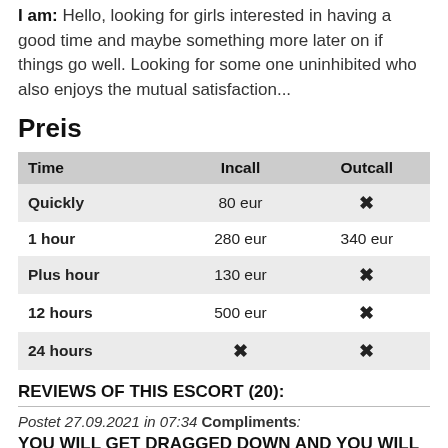I am: Hello, looking for girls interested in having a good time and maybe something more later on if things go well. Looking for some one uninhibited who also enjoys the mutual satisfaction...
Preis
| Time | Incall | Outcall |
| --- | --- | --- |
| Quickly | 80 eur | ✗ |
| 1 hour | 280 eur | 340 eur |
| Plus hour | 130 eur | ✗ |
| 12 hours | 500 eur | ✗ |
| 24 hours | ✗ | ✗ |
REVIEWS OF THIS ESCORT (20):
Postet 27.09.2021 in 07:34 Compliments: YOU WILL GET DRAGGED DOWN AND YOU WILL COME OUT OF THIS SO DAMAGED. IT'S